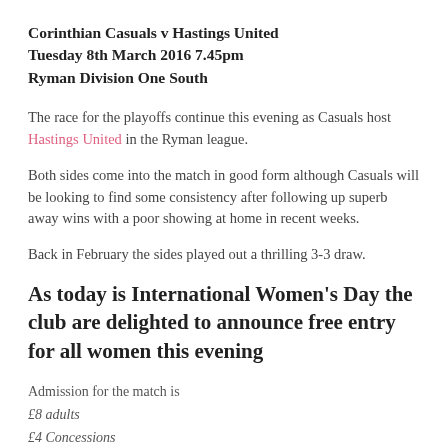Corinthian Casuals v Hastings United
Tuesday 8th March 2016 7.45pm
Ryman Division One South
The race for the playoffs continue this evening as Casuals host Hastings United in the Ryman league.
Both sides come into the match in good form although Casuals will be looking to find some consistency after following up superb away wins with a poor showing at home in recent weeks.
Back in February the sides played out a thrilling 3-3 draw.
As today is International Women's Day the club are delighted to announce free entry for all women this evening
Admission for the match is
£8 adults
£4 Concessions